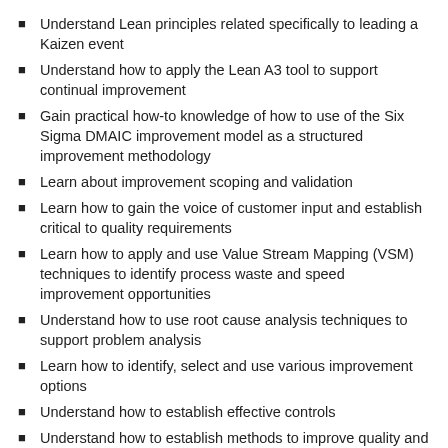Understand Lean principles related specifically to leading a Kaizen event
Understand how to apply the Lean A3 tool to support continual improvement
Gain practical how-to knowledge of how to use of the Six Sigma DMAIC improvement model as a structured improvement methodology
Learn about improvement scoping and validation
Learn how to gain the voice of customer input and establish critical to quality requirements
Learn how to apply and use Value Stream Mapping (VSM) techniques to identify process waste and speed improvement opportunities
Understand how to use root cause analysis techniques to support problem analysis
Learn how to identify, select and use various improvement options
Understand how to establish effective controls
Understand how to establish methods to improve quality and mistake proof future process activities